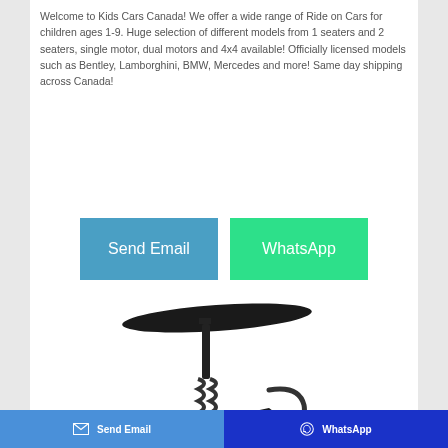Welcome to Kids Cars Canada! We offer a wide range of Ride on Cars for children ages 1-9. Huge selection of different models from 1 seaters and 2 seaters, single motor, dual motors and 4x4 available! Officially licensed models such as Bentley, Lamborghini, BMW, Mercedes and more! Same day shipping across Canada!
[Figure (other): Two call-to-action buttons: 'Send Email' (blue) and 'WhatsApp' (green)]
[Figure (photo): A black ride-on toy car (children's electric vehicle) partially visible, showing the top/side view with a wing-like roof piece and spring suspension]
Send Email   WhatsApp